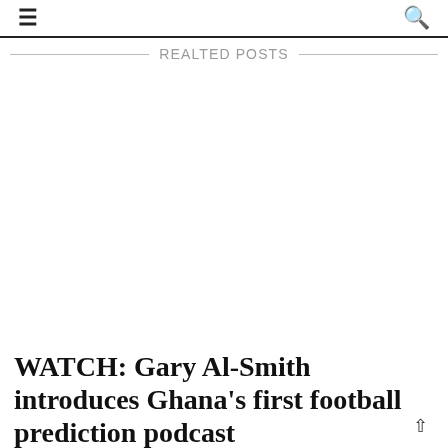☰  🔍
REALTED POSTS
[Figure (photo): Blank white image placeholder area for a related post thumbnail]
WATCH: Gary Al-Smith introduces Ghana's first football prediction podcast